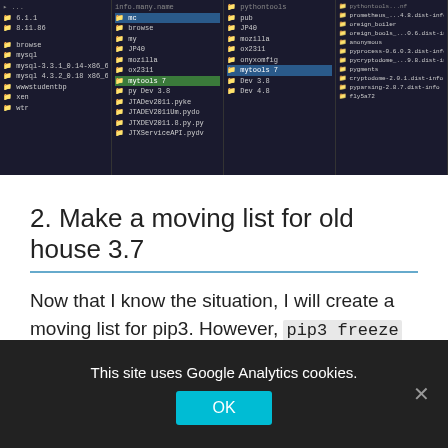[Figure (screenshot): Dark-themed file browser / terminal window showing directory listings with multiple columns of file and folder names on a dark background.]
2. Make a moving list for old house 3.7
Now that I know the situation, I will create a moving list for pip3. However, pip3 freeze even if you do it as it is, you can only create an empty list of new homes, so based on the previous location information, change the number 3.8 to 3.7 and create a moving list like this ( Script 2 ).
This site uses Google Analytics cookies.